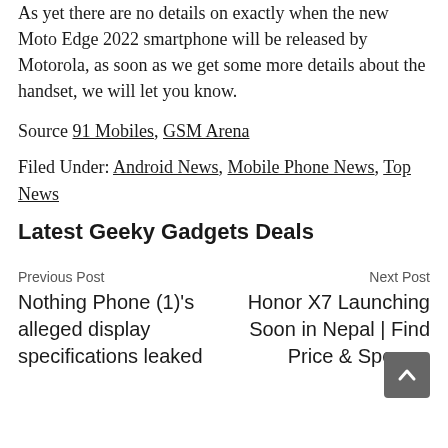As yet there are no details on exactly when the new Moto Edge 2022 smartphone will be released by Motorola, as soon as we get some more details about the handset, we will let you know.
Source 91 Mobiles, GSM Arena
Filed Under: Android News, Mobile Phone News, Top News
Latest Geeky Gadgets Deals
Previous Post
Nothing Phone (1)'s alleged display specifications leaked
Next Post
Honor X7 Launching Soon in Nepal | Find Price & Specs –